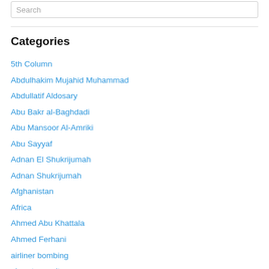Search
Categories
5th Column
Abdulhakim Mujahid Muhammad
Abdullatif Aldosary
Abu Bakr al-Baghdadi
Abu Mansoor Al-Amriki
Abu Sayyaf
Adnan El Shukrijumah
Adnan Shukrijumah
Afghanistan
Africa
Ahmed Abu Khattala
Ahmed Ferhani
airliner bombing
airport security
Al Hayat